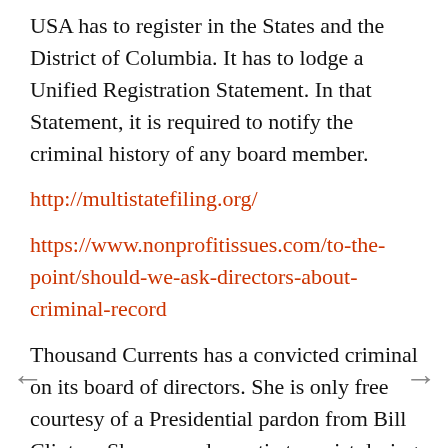USA has to register in the States and the District of Columbia. It has to lodge a Unified Registration Statement. In that Statement, it is required to notify the criminal history of any board member.
http://multistatefiling.org/
https://www.nonprofitissues.com/to-the-point/should-we-ask-directors-about-criminal-record
Thousand Currents has a convicted criminal on its board of directors. She is only free courtesy of a Presidential pardon from Bill Clinton. She was a domestic terrorist during the Vietnam War. Her name is Susan Rosenberg.
https://www.influencewatch.org/person/sus...